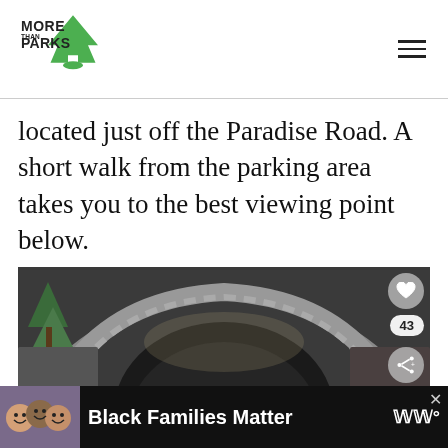[Figure (logo): More Than Just Parks logo — green tree/arrow icon with text MORE THAN PARKS]
located just off the Paradise Road. A short walk from the parking area takes you to the best viewing point below.
[Figure (photo): Stone arch bridge tunnel with a waterfall visible beneath it, surrounded by snow-dusted evergreen trees and rocky cliffs. Overlay UI elements include a heart/like button (43 likes), a share button, and a 'WHAT'S NEXT → 20 EPIC Things to D...' card.]
[Figure (infographic): Black advertisement bar at bottom: photo of smiling family on left, bold white text 'Black Families Matter' in center, close button (×), and WW logo on right.]